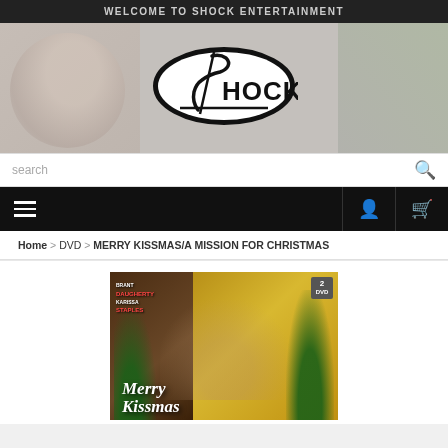WELCOME TO SHOCK ENTERTAINMENT
[Figure (logo): Shock Entertainment banner with faded background woman and greenery, featuring the Shock oval logo in black and white]
search
[Figure (infographic): Black navigation bar with hamburger menu icon on left, user account icon and shopping cart icon on right]
Home > DVD > MERRY KISSMAS/A MISSION FOR CHRISTMAS
[Figure (photo): DVD cover for Merry Kissmas featuring Brant Daugherty and Karissa Staples, gold background with Christmas trees, red ornaments, and cursive Merry Kissmas title text. 2 DVD badge in top right corner.]